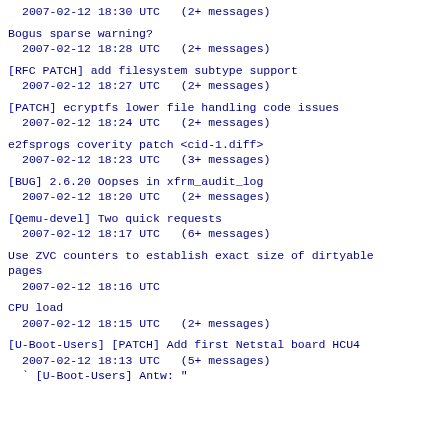2007-02-12 18:30 UTC  (2+ messages)
Bogus sparse warning?
 2007-02-12 18:28 UTC  (2+ messages)
[RFC PATCH] add filesystem subtype support
 2007-02-12 18:27 UTC  (2+ messages)
[PATCH] ecryptfs lower file handling code issues
 2007-02-12 18:24 UTC  (2+ messages)
e2fsprogs coverity patch <cid-1.diff>
 2007-02-12 18:23 UTC  (3+ messages)
[BUG] 2.6.20 Oopses in xfrm_audit_log
 2007-02-12 18:20 UTC  (2+ messages)
[Qemu-devel] Two quick requests
 2007-02-12 18:17 UTC  (6+ messages)
Use ZVC counters to establish exact size of dirtyable pages
 2007-02-12 18:16 UTC
CPU load
 2007-02-12 18:15 UTC  (2+ messages)
[U-Boot-Users] [PATCH] Add first Netstal board HCU4
 2007-02-12 18:13 UTC  (5+ messages)
` [U-Boot-Users] Antw: "